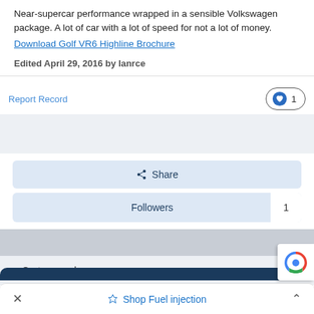Near-supercar performance wrapped in a sensible Volkswagen package. A lot of car with a lot of speed for not a lot of money.
Download Golf VR6 Highline Brochure
Edited April 29, 2016 by Ianrce
Report Record
1
Share
Followers
1
Go to records
Shop Fuel injection